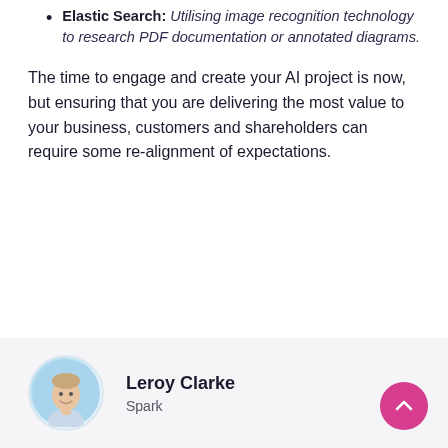Elastic Search: Utilising image recognition technology to research PDF documentation or annotated diagrams.
The time to engage and create your AI project is now, but ensuring that you are delivering the most value to your business, customers and shareholders can require some re-alignment of expectations.
[Figure (photo): Circular avatar photo of Leroy Clarke with a blue sky background]
Leroy Clarke
Spark